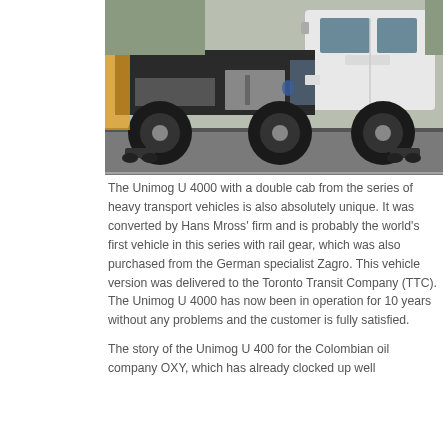[Figure (photo): A Unimog U 4000 heavy transport vehicle with a double cab shown from the side on a road. The vehicle is white with large black tires, visible chassis and rail gear equipment underneath, and industrial equipment mounted on the frame.]
The Unimog U 4000 with a double cab from the series of heavy transport vehicles is also absolutely unique. It was converted by Hans Mross' firm and is probably the world's first vehicle in this series with rail gear, which was also purchased from the German specialist Zagro. This vehicle version was delivered to the Toronto Transit Company (TTC). The Unimog U 4000 has now been in operation for 10 years without any problems and the customer is fully satisfied.
The story of the Unimog U 400 for the Colombian oil company OXY, which has already clocked up well